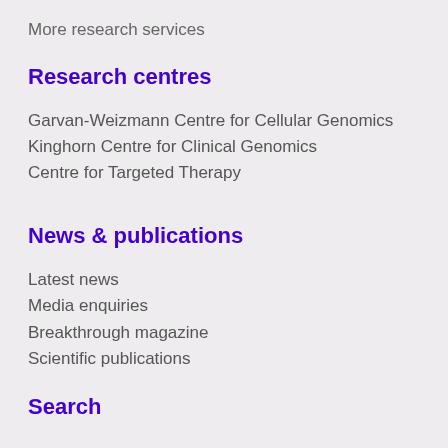More research services
Research centres
Garvan-Weizmann Centre for Cellular Genomics
Kinghorn Centre for Clinical Genomics
Centre for Targeted Therapy
News & publications
Latest news
Media enquiries
Breakthrough magazine
Scientific publications
Search